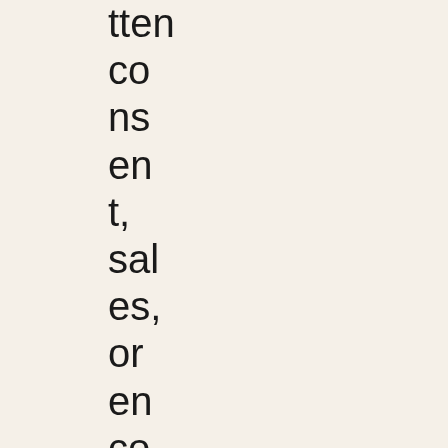tten
co
ns
en
t,
sal
es,
or
en
co
ura
ge
an
y
ot
he
r

co